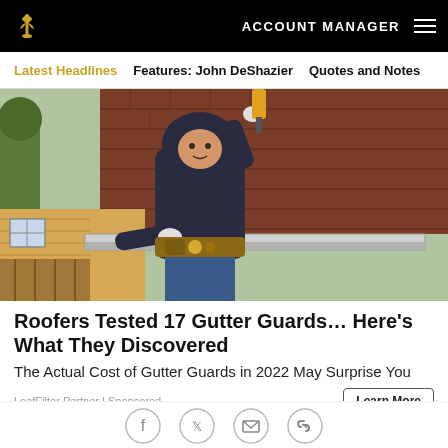ACCOUNT MANAGER
Latest Headlines | Features: John DeShazier | Quotes and Notes
[Figure (photo): A worker wearing a hoodie and tool belt installs a gutter guard on a residential roof with a drill]
Roofers Tested 17 Gutter Guards… Here's What They Discovered
The Actual Cost of Gutter Guards in 2022 May Surprise You
LeafFilter Partner | Sponsored
Social icons: Facebook, Twitter, Email, Link